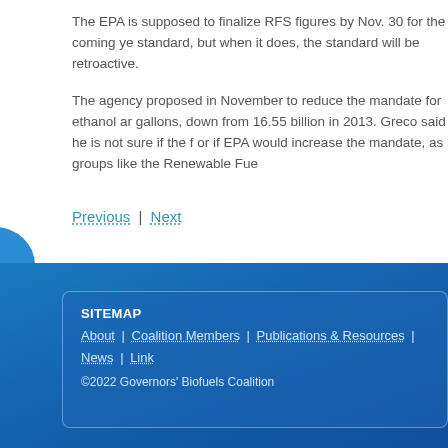The EPA is supposed to finalize RFS figures by Nov. 30 for the coming year standard, but when it does, the standard will be retroactive.
The agency proposed in November to reduce the mandate for ethanol and other gallons, down from 16.55 billion in 2013. Greco said he is not sure if the final or if EPA would increase the mandate, as groups like the Renewable Fue...
Previous | Next
SITEMAP
About | Coalition Members | Publications & Resources | News | Link...
©2022 Governors' Biofuels Coalition